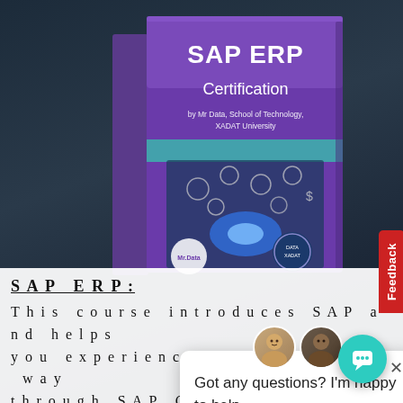[Figure (photo): SAP ERP Certification course box with purple cover, showing 'SAP ERP Certification by Mr Data, School of Technology, XADAT University', with technology/digital icons on the cover. Displayed against a dark blue blurred background of books/papers.]
[Figure (screenshot): Chat popup overlay with two instructor avatars, an X close button, and the text 'Got any questions? I'm happy to help.']
Feedback
SAP ERP:
This course introduces SAP and helps you experience it in a simple way through SAP GUI, explained in everyday language. This course introduces SAP...